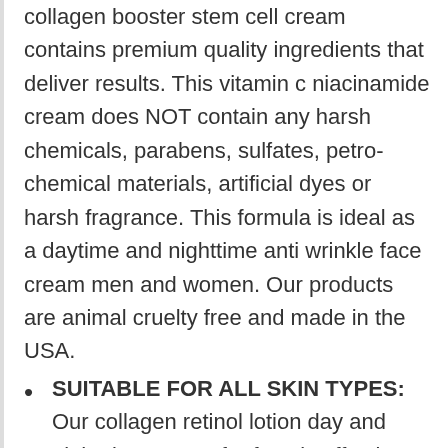collagen booster stem cell cream contains premium quality ingredients that deliver results. This vitamin c niacinamide cream does NOT contain any harsh chemicals, parabens, sulfates, petro-chemical materials, artificial dyes or harsh fragrance. This formula is ideal as a daytime and nighttime anti wrinkle face cream men and women. Our products are animal cruelty free and made in the USA.
SUITABLE FOR ALL SKIN TYPES: Our collagen retinol lotion day and night time cream for face is effective yet gentle enough for sensitive, mature, and aging skin types delivering results you can see and feel. Within approximately 7-10 days skin may feel softer, look smoother and feel more hydrated. With regular use of our All in 1 ultimate peptide collagen cream at 4-6 weeks some users reported a decrease in the appearance of fine lines and wrinkles and a more even-toned and